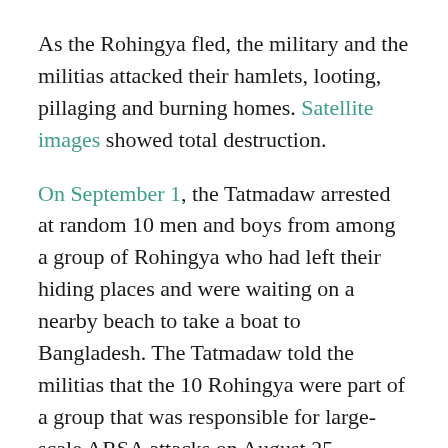As the Rohingya fled, the military and the militias attacked their hamlets, looting, pillaging and burning homes. Satellite images showed total destruction.
On September 1, the Tatmadaw arrested at random 10 men and boys from among a group of Rohingya who had left their hiding places and were waiting on a nearby beach to take a boat to Bangladesh. The Tatmadaw told the militias that the 10 Rohingya were part of a group that was responsible for large-scale ARSA attacks on August 25.
The next day the 10 were taken to some scrubland. First, they were questioned about the disappearance of a local Rakhine farmer. Then they were also killed there, they were also killed.